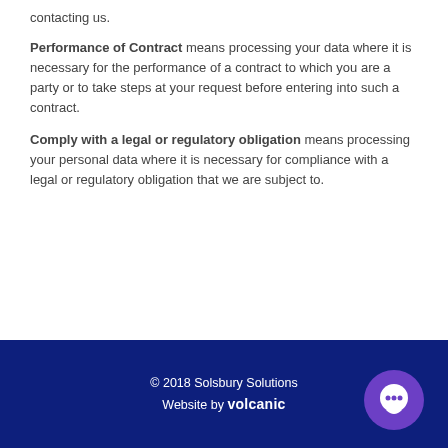contacting us.
Performance of Contract means processing your data where it is necessary for the performance of a contract to which you are a party or to take steps at your request before entering into such a contract.
Comply with a legal or regulatory obligation means processing your personal data where it is necessary for compliance with a legal or regulatory obligation that we are subject to.
© 2018 Solsbury Solutions
Website by volcanic